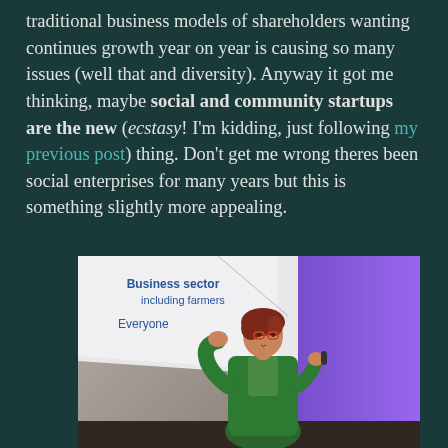traditional business models of shareholders wanting continues growth year on year is causing so many issues (well that and diversity). Anyway it got me thinking, maybe social and community startups are the new (ecstasy! I'm kidding, just following my previous post) thing. Don't get me wrong theres been social enterprises for many years but this is something slightly more appealing.
[Figure (photo): Woman in green cardigan speaking at a conference or event, gesturing with hands. Behind her is a presentation slide showing text 'Business sector including farmers' and 'Everyone'. The background on the right is purple/violet stage lighting.]